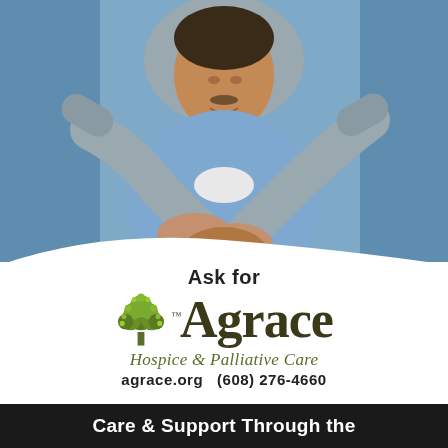[Figure (photo): A man in a light blue sweater seated in a wheelchair, being embraced from behind by a caregiver in a grey sweater. The man is smiling and has his hands clasped together. Warm, caring scene.]
Ask for
Agrace
Hospice & Palliative Care
agrace.org  (608) 276-4660
Care & Support Through the